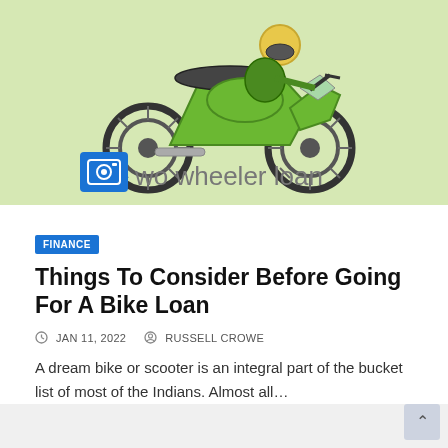[Figure (illustration): Light green banner image showing a green sport motorcycle with a rider, and text 'Two wheeler loan' with a blue camera icon placeholder on the left]
FINANCE
Things To Consider Before Going For A Bike Loan
JAN 11, 2022   RUSSELL CROWE
A dream bike or scooter is an integral part of the bucket list of most of the Indians. Almost all…